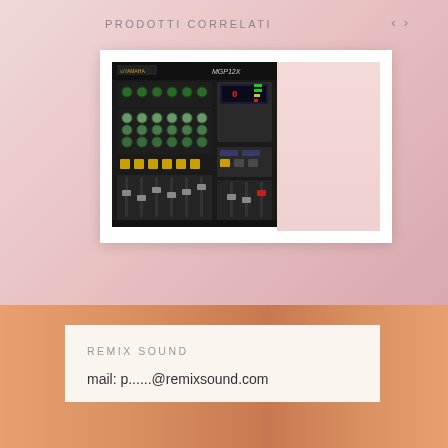PRODOTTI CORRELATI
[Figure (photo): Yamaha MGP12X audio mixing console shown top-down with faders, knobs, and digital display panel]
REMIX SOUND
mail: p......@remixsound.com